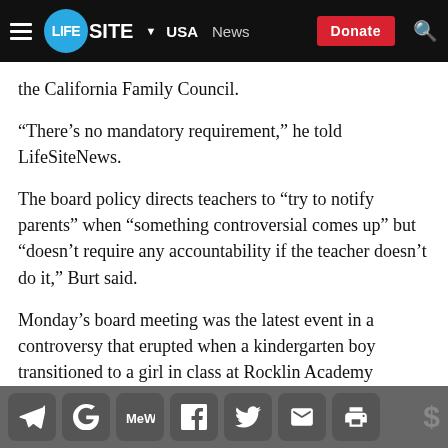LifeSite | USA | News | Donate
the California Family Council.
“There’s no mandatory requirement,” he told LifeSiteNews.
The board policy directs teachers to “try to notify parents” when “something controversial comes up” but “doesn’t require any accountability if the teacher doesn’t do it,” Burt said.
Monday’s board meeting was the latest event in a controversy that erupted when a kindergarten boy transitioned to a girl in class at Rocklin Academy Gateway and neither parents nor administration were told beforehand.
Social share toolbar: Telegram, Google, MeWe, Facebook, Twitter, Email, Print, Donate